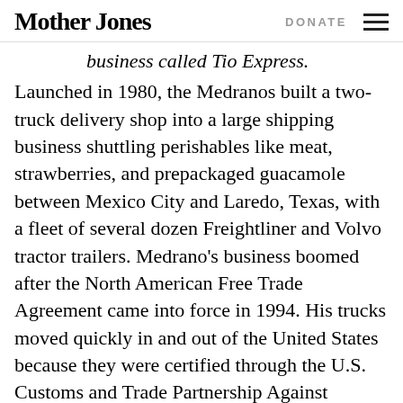Mother Jones | DONATE
business called Tio Express. Launched in 1980, the Medranos built a two-truck delivery shop into a large shipping business shuttling perishables like meat, strawberries, and prepackaged guacamole between Mexico City and Laredo, Texas, with a fleet of several dozen Freightliner and Volvo tractor trailers. Medrano's business boomed after the North American Free Trade Agreement came into force in 1994. His trucks moved quickly in and out of the United States because they were certified through the U.S. Customs and Trade Partnership Against Terrorism, a voluntary government-business program that pre-screens cargo for bombs and other contraband. In the spring of 2008, Medrano's lawyers received a